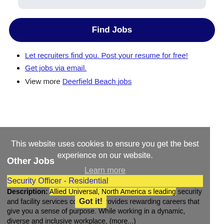[Figure (other): Top rounded gray bar element]
Find Jobs
Let recruiters find you. Post your resume for free!
Get jobs via email.
View more Deerfield Beach jobs
This website uses cookies to ensure you get the best experience on our website.
Learn more
Got it!
Other Jobs
Security Officer - Residential
Description: Allied Universal, North America s leading security and facility services company, provides rewarding careers that give you a sense of purpose. While working in a dynamic, diverse and inclusive workplace, (more...)